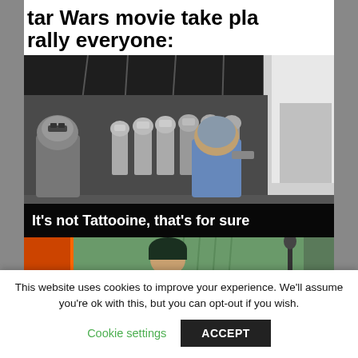tar Wars movie take place rally everyone:
[Figure (screenshot): Star Wars behind-the-scenes or movie screenshot showing clone troopers/stormtroopers lined up in a row with figures in the foreground, dark industrial background with a white structure on the right. Caption bar at the bottom reads: It's not Tattooine, that's for sure]
It's not Tattooine, that's for sure
[Figure (screenshot): Partial screenshot of a person wearing a dark beanie hat outdoors, with orange and green elements in the background]
This website uses cookies to improve your experience. We'll assume you're ok with this, but you can opt-out if you wish.
Cookie settings    ACCEPT